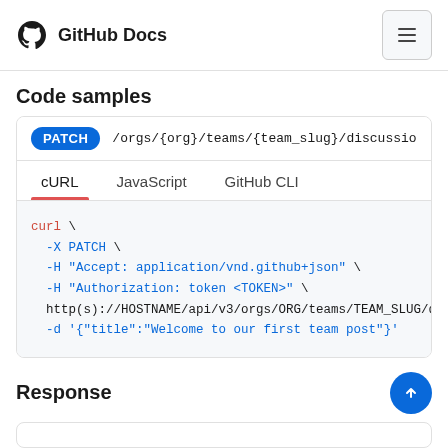GitHub Docs
Code samples
PATCH /orgs/{org}/teams/{team_slug}/discussions/{dis
cURL  JavaScript  GitHub CLI
curl \
  -X PATCH \
  -H "Accept: application/vnd.github+json" \
  -H "Authorization: token <TOKEN>" \
  http(s)://HOSTNAME/api/v3/orgs/ORG/teams/TEAM_SLUG/discu
  -d '{"title":"Welcome to our first team post"}'
Response